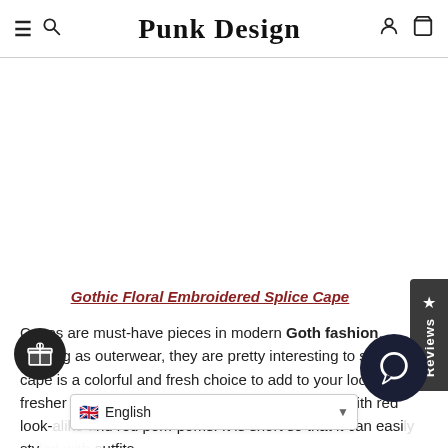Punk Design
Gothic Floral Embroidered Splice Cape
Capes are must-have pieces in modern Goth fashion. Serving as outerwear, they are pretty interesting to style. This cape is a colorful and fresh choice to add to your look a fresher vibe and a bit of color. The cape is black, with red look-alike and red pom-poms. It is short so that it can easily sty... outfits.